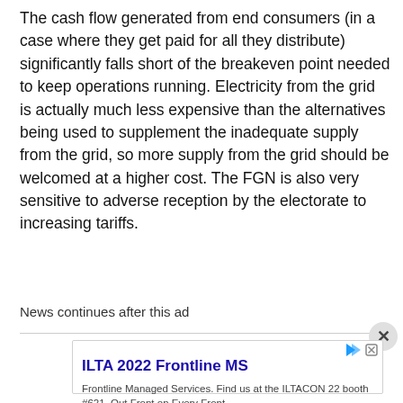The cash flow generated from end consumers (in a case where they get paid for all they distribute) significantly falls short of the breakeven point needed to keep operations running. Electricity from the grid is actually much less expensive than the alternatives being used to supplement the inadequate supply from the grid, so more supply from the grid should be welcomed at a higher cost. The FGN is also very sensitive to adverse reception by the electorate to increasing tariffs.
News continues after this ad
[Figure (screenshot): Advertisement box for ILTA 2022 Frontline MS. Title: 'ILTA 2022 Frontline MS'. Body: 'Frontline Managed Services. Find us at the ILTACON 22 booth #621. Out Front on Every Front'. Source: 'Frontline MS'. Button: 'Visit Site' in blue.]